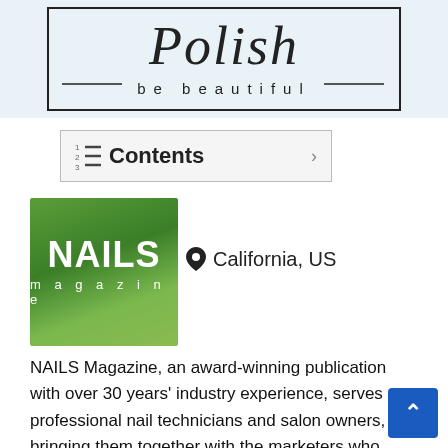[Figure (logo): Posh 'be beautiful' logo with script lettering inside a rectangular border on a light blue/white background]
[Figure (other): Contents navigation button with list icon and right arrow chevron]
[Figure (logo): NAILS Magazine logo — white bold NAILS text with 'magazine' letterspaced below on green gradient background]
California, US
NAILS Magazine, an award-winning publication with over 30 years' industry experience, serves professional nail technicians and salon owners, bringing them together with the marketers who make the products they want and need. NAILS